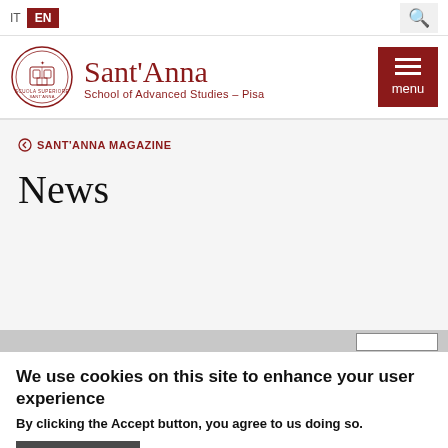IT  EN
[Figure (logo): Sant'Anna School of Advanced Studies – Pisa logo with circular emblem and red text]
⊙ SANT'ANNA MAGAZINE
News
We use cookies on this site to enhance your user experience
By clicking the Accept button, you agree to us doing so.
More info